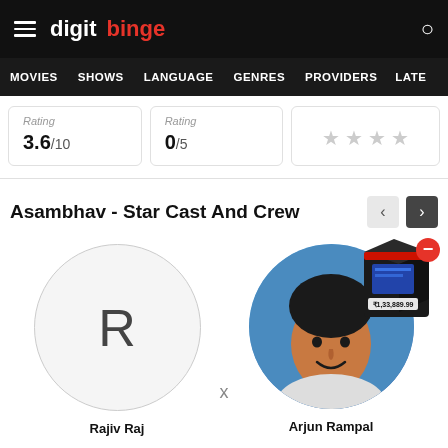digit binge
MOVIES  SHOWS  LANGUAGE  GENRES  PROVIDERS  LATE
Rating 3.6/10
Rating 0/5
[Figure (other): Star rating display with 4 gray stars]
Asambhav - Star Cast And Crew
[Figure (photo): Circle placeholder with letter R for Rajiv Raj]
[Figure (photo): Circle with photo of Arjun Rampal with product box overlay]
Rajiv Raj
Arjun Rampal